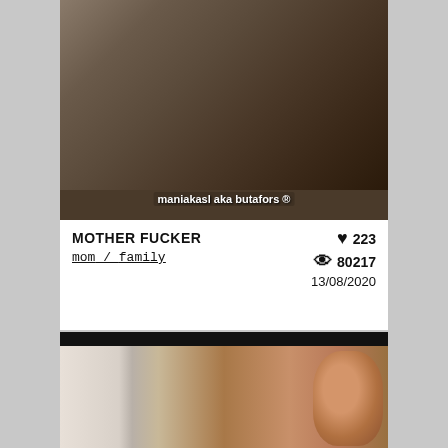[Figure (screenshot): Video thumbnail showing two figures in a bedroom scene with text overlay 'maniakasl aka butafors ®']
MOTHER FUCKER
mom / family
♥ 223
👁 80217
13/08/2020
[Figure (screenshot): Video thumbnail showing a close-up of a person's face looking sideways]